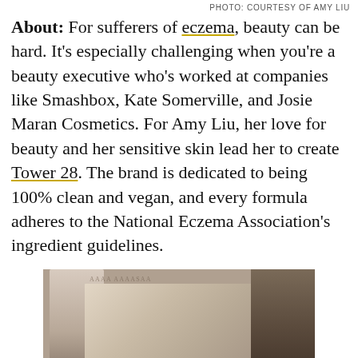PHOTO: COURTESY OF AMY LIU
About: For sufferers of eczema, beauty can be hard. It’s especially challenging when you’re a beauty executive who's worked at companies like Smashbox, Kate Somerville, and Josie Maran Cosmetics. For Amy Liu, her love for beauty and her sensitive skin lead her to create Tower 28. The brand is dedicated to being 100% clean and vegan, and every formula adheres to the National Eczema Association’s ingredient guidelines.
[Figure (photo): Photo of a stone architectural element or column with carved inscription details, with a Louis Vuitton banner overlay at the bottom reading LOUIS VUITTON]